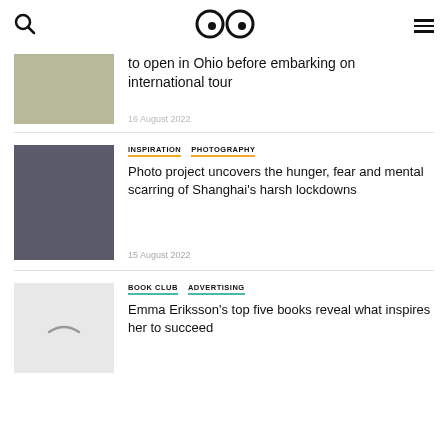Search | logo (eyes) | Menu
to open in Ohio before embarking on international tour
16 August 2022
INSPIRATION  PHOTOGRAPHY
Photo project uncovers the hunger, fear and mental scarring of Shanghai's harsh lockdowns
15 August 2022
BOOK CLUB  ADVERTISING
Emma Eriksson's top five books reveal what inspires her to succeed